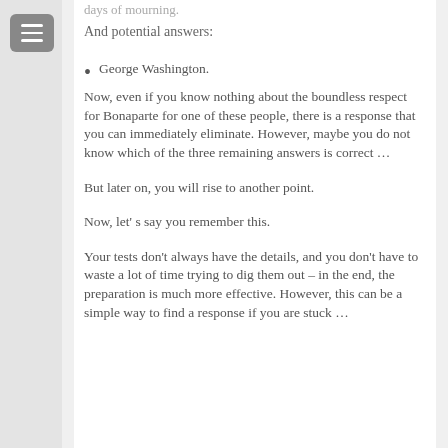days of mourning.
And potential answers:
George Washington.
Now, even if you know nothing about the boundless respect for Bonaparte for one of these people, there is a response that you can immediately eliminate. However, maybe you do not know which of the three remaining answers is correct …
But later on, you will rise to another point.
Now, let's say you remember this.
Your tests don't always have the details, and you don't have to waste a lot of time trying to dig them out – in the end, the preparation is much more effective. However, this can be a simple way to find a response if you are stuck …